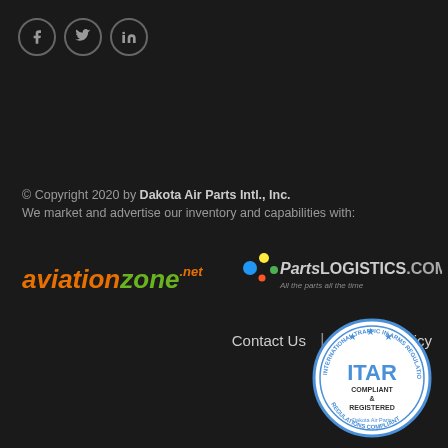[Figure (logo): Social media icons: Facebook, Twitter, LinkedIn — circular bordered icons]
© Copyright 2020 by Dakota Air Parts Intl., Inc.
We market and advertise our inventory and capabilities with:
[Figure (logo): AviationZone.com logo (orange/green text) and PartsLogistics.com logo (colorful dots with dark text and tagline 'All the parts all the time')]
Contact Us  |  Privacy Policy
[Figure (logo): ITAR Compliant & Registered circular seal badge — International Traffic in Arms Regulations Compliant, Dakota Air Parts]